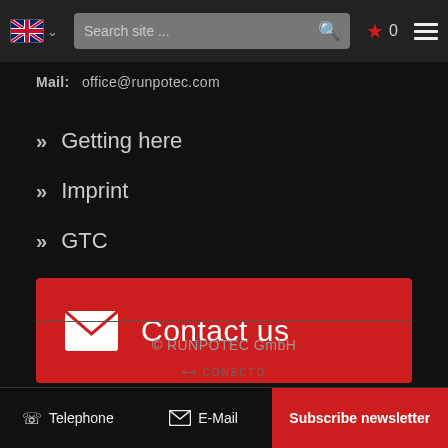Search site ...
Mail:   office@runpotec.com
» Getting here
» Imprint
» GTC
[Figure (infographic): Red button with envelope icon and text 'Contact us']
© RUNPOTEC GmbH
⇔ CONECTO
Telephone   E-Mail   Subscribe newsletter